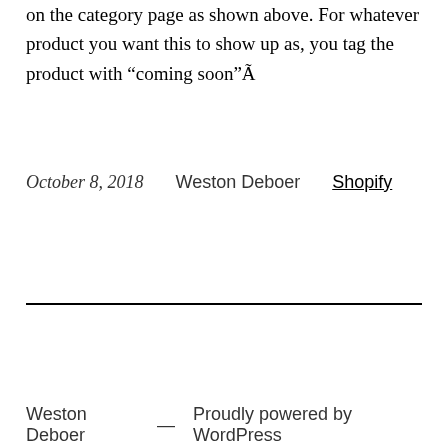on the category page as shown above. For whatever product you want this to show up as, you tag the product with “coming soon”Ã
October 8, 2018    Weston Deboer    Shopify
Weston Deboer  —  Proudly powered by WordPress